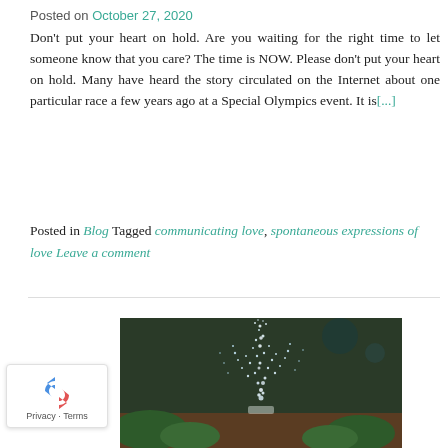Posted on October 27, 2020
Don't put your heart on hold. Are you waiting for the right time to let someone know that you care? The time is NOW. Please don't put your heart on hold. Many have heard the story circulated on the Internet about one particular race a few years ago at a Special Olympics event. It is[...]
Posted in Blog Tagged communicating love, spontaneous expressions of love Leave a comment
[Figure (photo): Close-up photo of water spraying upward from a garden watering can spout over green plants, dark blurred background]
[Figure (logo): reCAPTCHA logo badge with Privacy and Terms links]